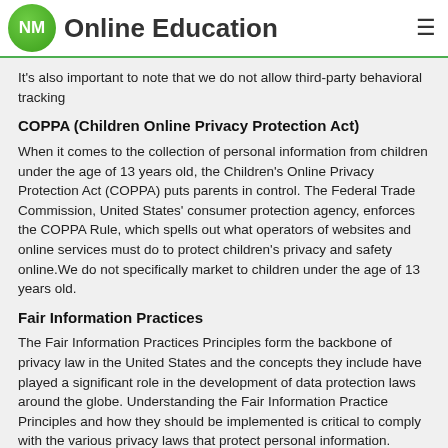NM Online Education
It's also important to note that we do not allow third-party behavioral tracking
COPPA (Children Online Privacy Protection Act)
When it comes to the collection of personal information from children under the age of 13 years old, the Children's Online Privacy Protection Act (COPPA) puts parents in control. The Federal Trade Commission, United States' consumer protection agency, enforces the COPPA Rule, which spells out what operators of websites and online services must do to protect children's privacy and safety online.We do not specifically market to children under the age of 13 years old.
Fair Information Practices
The Fair Information Practices Principles form the backbone of privacy law in the United States and the concepts they include have played a significant role in the development of data protection laws around the globe. Understanding the Fair Information Practice Principles and how they should be implemented is critical to comply with the various privacy laws that protect personal information.
In order to be in line with Fair Information Practices we will take the